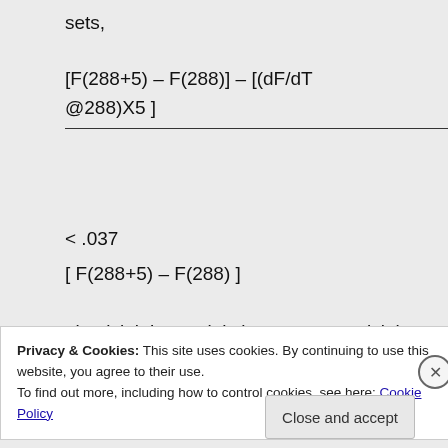sets,
< .037
, is trivial. It certainly is even more trivial when one is talking about sets of
Privacy & Cookies: This site uses cookies. By continuing to use this website, you agree to their use.
To find out more, including how to control cookies, see here: Cookie Policy
Close and accept